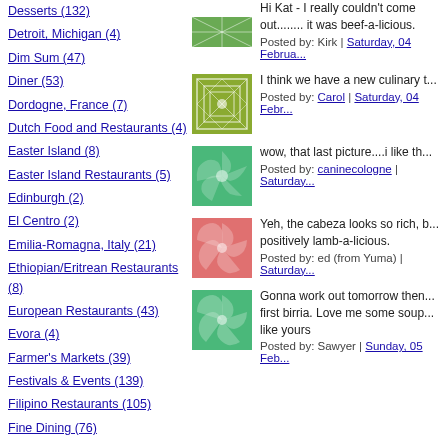Desserts (132)
Detroit, Michigan (4)
Dim Sum (47)
Diner (53)
Dordogne, France (7)
Dutch Food and Restaurants (4)
Easter Island (8)
Easter Island Restaurants (5)
Edinburgh (2)
El Centro (2)
Emilia-Romagna, Italy (21)
Ethiopian/Eritrean Restaurants (8)
European Restaurants (43)
Evora (4)
Farmer's Markets (39)
Festivals & Events (139)
Filipino Restaurants (105)
Fine Dining (76)
Hi Kat - I really couldn't come out........ it was beef-a-licious.
Posted by: Kirk | Saturday, 04 February
[Figure (illustration): Green geometric pattern thumbnail - top left area]
I think we have a new culinary t
Posted by: Carol | Saturday, 04 February
[Figure (illustration): Green diamond/grid pattern thumbnail]
wow, that last picture....i like th
Posted by: caninecologne | Saturday
[Figure (illustration): Green swirl/sunburst pattern thumbnail]
Yeh, the cabeza looks so rich, b positively lamb-a-licious.
Posted by: ed (from Yuma) | Saturday
[Figure (illustration): Red/pink swirl pattern thumbnail]
Gonna work out tomorrow then first birria. Love me some soup like yours
Posted by: Sawyer | Sunday, 05 February
[Figure (illustration): Green swirl/sunburst pattern thumbnail - bottom]